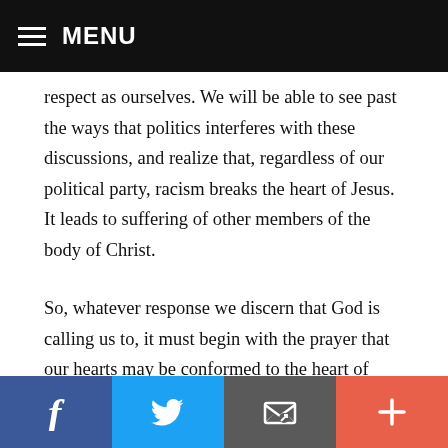MENU
respect as ourselves. We will be able to see past the ways that politics interferes with these discussions, and realize that, regardless of our political party, racism breaks the heart of Jesus. It leads to suffering of other members of the body of Christ.
So, whatever response we discern that God is calling us to, it must begin with the prayer that our hearts may be conformed to the heart of Christ. In conforming our hearts to his, our hearts will break over the sufferings of others. It will not be a question of whether we are obligated to do
f  [Twitter]  [Email]  +